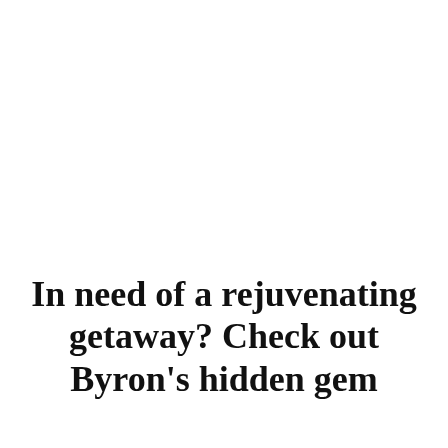In need of a rejuvenating getaway? Check out Byron's hidden gem